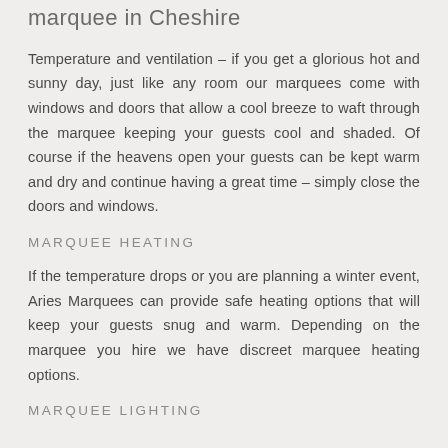marquee in Cheshire
Temperature and ventilation – if you get a glorious hot and sunny day, just like any room our marquees come with windows and doors that allow a cool breeze to waft through the marquee keeping your guests cool and shaded. Of course if the heavens open your guests can be kept warm and dry and continue having a great time – simply close the doors and windows.
MARQUEE HEATING
If the temperature drops or you are planning a winter event, Aries Marquees can provide safe heating options that will keep your guests snug and warm. Depending on the marquee you hire we have discreet marquee heating options.
MARQUEE LIGHTING